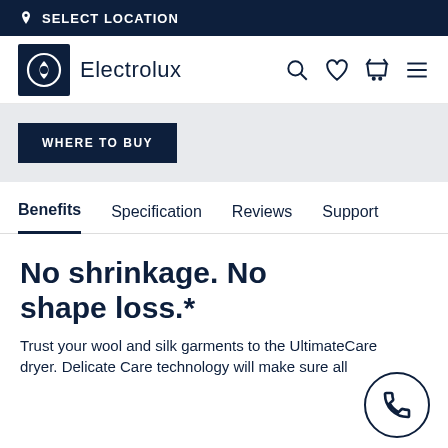SELECT LOCATION
[Figure (logo): Electrolux logo with circular E icon in dark navy box and 'Electrolux' wordmark]
WHERE TO BUY
Benefits  Specification  Reviews  Support
No shrinkage. No shape loss.*
Trust your wool and silk garments to the UltimateCare dryer. Delicate Care technology will make sure all...